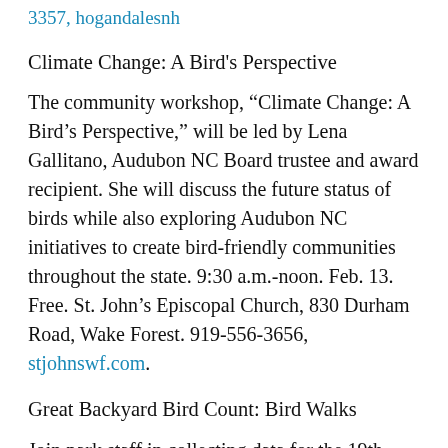3357, hogandalesnh
Climate Change: A Bird’s Perspective
The community workshop, “Climate Change: A Bird’s Perspective,” will be led by Lena Gallitano, Audubon NC Board trustee and award recipient. She will discuss the future status of birds while also exploring Audubon NC initiatives to create bird-friendly communities throughout the state. 9:30 a.m.-noon. Feb. 13. Free. St. John’s Episcopal Church, 830 Durham Road, Wake Forest. 919-556-3656, stjohnswf.com.
Great Backyard Bird Count: Bird Walks
Join park staff in collecting data for the 19th annual Great Backyard Bird Count. Look and listen for birds